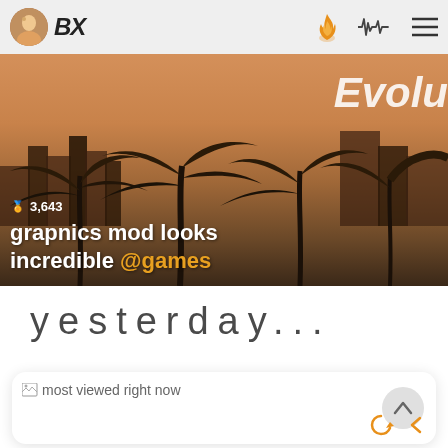BX | 3,643 | navigation icons
[Figure (screenshot): Banner image showing GTA-style cityscape with palm trees and golden/orange sky tones. Text overlay: '3,643 grapnics mod looks incredible @games'. Partially visible text 'Evolu' on the right.]
yesterday...
[Figure (screenshot): White card with broken image icon and text 'most viewed right now', with a circular chevron-up button and orange reload and back arrow icons at the bottom right.]